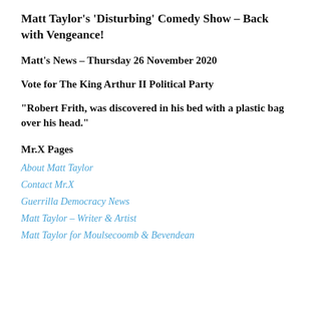Matt Taylor's 'Disturbing' Comedy Show – Back with Vengeance!
Matt's News – Thursday 26 November 2020
Vote for The King Arthur II Political Party
“Robert Frith, was discovered in his bed with a plastic bag over his head.”
Mr.X Pages
About Matt Taylor
Contact Mr.X
Guerrilla Democracy News
Matt Taylor – Writer & Artist
Matt Taylor for Moulsecoomb & Bevendean